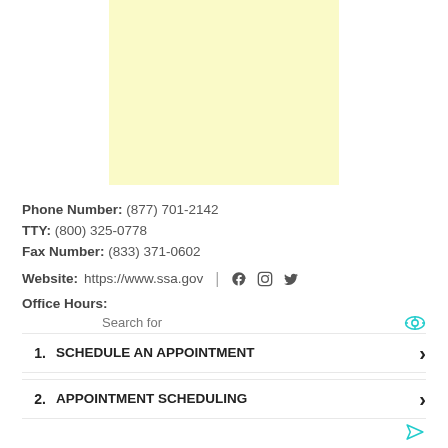[Figure (other): Light yellow rectangle placeholder/advertisement box]
Phone Number: (877) 701-2142
TTY: (800) 325-0778
Fax Number: (833) 371-0602
Website: https://www.ssa.gov
Office Hours:
Search for
1. SCHEDULE AN APPOINTMENT
2. APPOINTMENT SCHEDULING